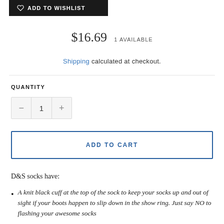[Figure (other): ADD TO WISHLIST button with heart icon, dark background]
$16.69  1 AVAILABLE
Shipping calculated at checkout.
QUANTITY
[Figure (other): Quantity selector with minus button, value 1, and plus button]
[Figure (other): ADD TO CART button with blue border]
D&S socks have:
A knit black cuff at the top of the sock to keep your socks up and out of sight if your boots happen to slip down in the show ring. Just say NO to flashing your awesome socks